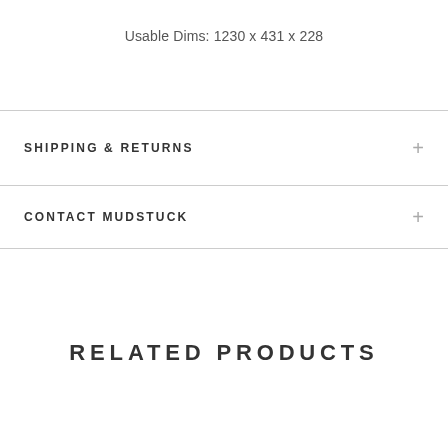Usable Dims: 1230 x 431 x 228
SHIPPING & RETURNS
CONTACT MUDSTUCK
RELATED PRODUCTS